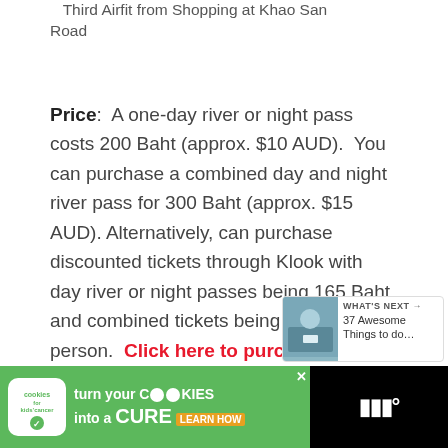Third Airfit from Shopping at Khao San Road
Price: A one-day river or night pass costs 200 Baht (approx. $10 AUD). You can purchase a combined day and night river pass for 300 Baht (approx. $15 AUD). Alternatively, can purchase discounted tickets through Klook with day river or night passes being 165 Baht and combined tickets being 235 Baht per person. Click here to purchase your discounted tickets.
[Figure (screenshot): What's Next promotional box showing a thumbnail image and text '37 Awesome Things to do...']
[Figure (screenshot): Cookies for Kids Cancer advertisement banner - green background with 'turn your COOKIES into a CURE LEARN HOW']